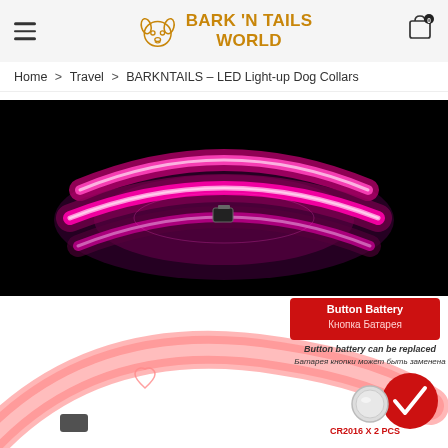BARK 'N TAILS WORLD
Home > Travel > BARKNTAILS – LED Light-up Dog Collars
[Figure (photo): LED light-up dog collar glowing pink/purple on black background]
[Figure (photo): Pink LED dog collar with Button Battery label in Russian and English, CR2016 X 2 PCS]